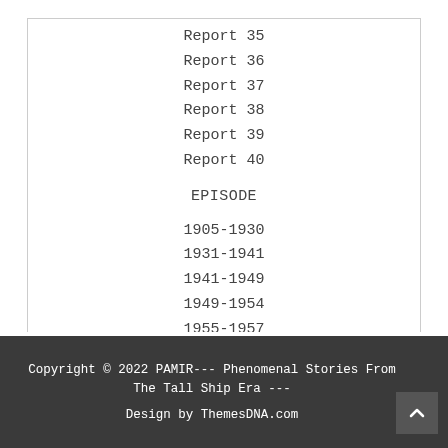Report 35
Report 36
Report 37
Report 38
Report 39
Report 40
EPISODE
1905-1930
1931-1941
1941-1949
1949-1954
1955-1957
1958-today
Copyright © 2022 PAMIR--- Phenomenal Stories From The Tall Ship Era ---
Design by ThemesDNA.com